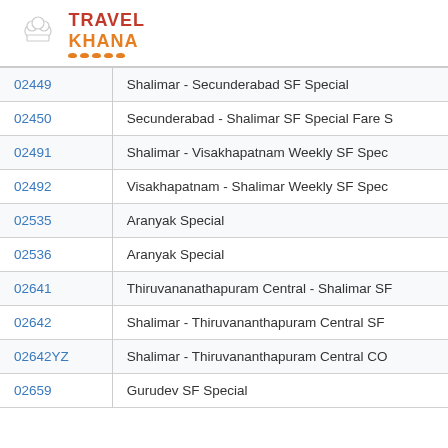[Figure (logo): TravelKhana logo with chef hat icon and orange dot underline]
| Train Number | Train Name |
| --- | --- |
| 02449 | Shalimar - Secunderabad SF Special |
| 02450 | Secunderabad - Shalimar SF Special Fare S |
| 02491 | Shalimar - Visakhapatnam Weekly SF Spec |
| 02492 | Visakhapatnam - Shalimar Weekly SF Spec |
| 02535 | Aranyak Special |
| 02536 | Aranyak Special |
| 02641 | Thiruvananathapuram Central - Shalimar SF |
| 02642 | Shalimar - Thiruvananthapuram Central SF |
| 02642YZ | Shalimar - Thiruvananthapuram Central CO |
| 02659 | Gurudev SF Special |